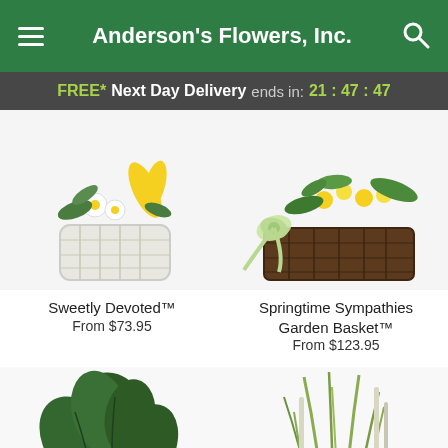Anderson's Flowers, Inc.
FREE* Next Day Delivery ends in: 21:47:47
[Figure (photo): Sweetly Devoted flower arrangement in white wicker basket with yellow lily and white daisies]
[Figure (photo): Springtime Sympathies Garden Basket in dark brown wicker basket with yellow flowers and green plants tied with light green ribbon]
Sweetly Devoted™
From $73.95
Springtime Sympathies Garden Basket™
From $123.95
[Figure (photo): Green rubber plant / tropical plant arrangement]
[Figure (photo): Garden arrangement with tall grasses and pink roses]